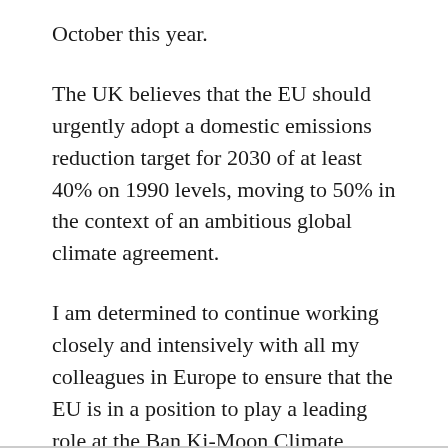October this year.
The UK believes that the EU should urgently adopt a domestic emissions reduction target for 2030 of at least 40% on 1990 levels, moving to 50% in the context of an ambitious global climate agreement.
I am determined to continue working closely and intensively with all my colleagues in Europe to ensure that the EU is in a position to play a leading role at the Ban Ki-Moon Climate Summit in September.
(via Parliament.uk)